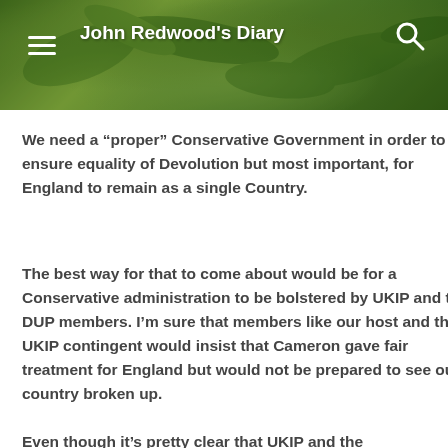John Redwood's Diary
We need a “proper” Conservative Government in order to ensure equality of Devolution but most important, for England to remain as a single Country.
The best way for that to come about would be for a Conservative administration to be bolstered by UKIP and the DUP members. I’m sure that members like our host and the UKIP contingent would insist that Cameron gave fair treatment for England but would not be prepared to see our country broken up.
Even though it’s pretty clear that UKIP and the Conservatives are likely to achieve a clear majority of the popular vote across the UK...